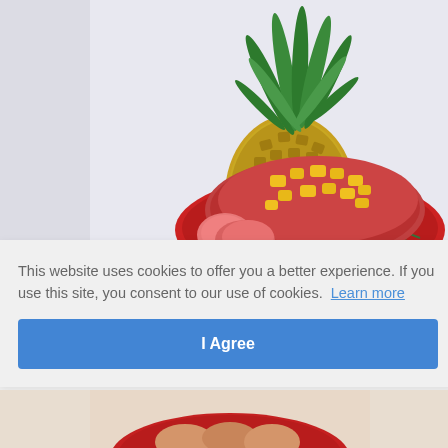[Figure (photo): Photo of a glazed ham on a red oval serving dish with pineapple chunks on top, garnished with rosemary, with a whole pineapple in the background. White/light gray background.]
This website uses cookies to offer you a better experience. If you use this site, you consent to our use of cookies. Learn more
ole
I Agree
[Figure (photo): Partial view of another food dish in a red serving dish, visible at the bottom of the page.]